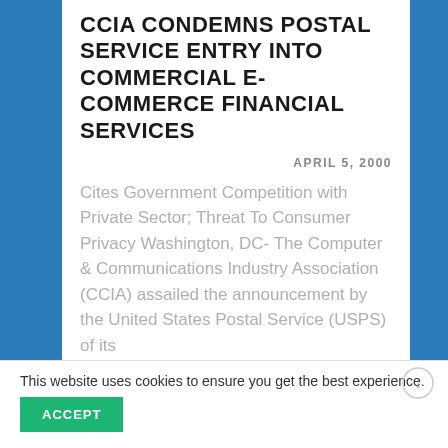CCIA CONDEMNS POSTAL SERVICE ENTRY INTO COMMERCIAL E-COMMERCE FINANCIAL SERVICES
APRIL 5, 2000
Cites Government Competition with Private Sector; Threat To Consumer Privacy Washington, DC- The Computer & Communications Industry Association (CCIA) assailed the announcement by the United States Postal Service (USPS) of its
This website uses cookies to ensure you get the best experience.
ACCEPT